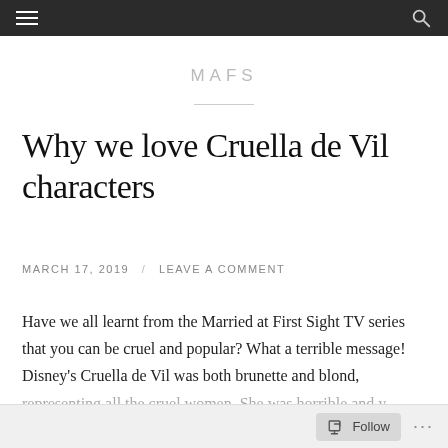MAFS
Why we love Cruella de Vil characters
MARCH 17, 2019  /  LEAVE A COMMENT
Have we all learnt from the Married at First Sight TV series that you can be cruel and popular? What a terrible message! Disney's Cruella de Vil was both brunette and blond, representing all the cruel women. She was horrible and...